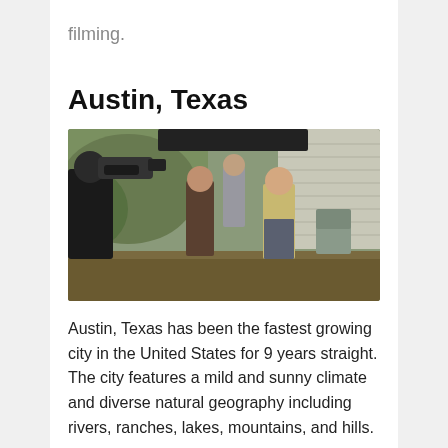filming.
Austin, Texas
[Figure (photo): Film crew shooting a scene outdoors near a house. A cameraman with a large camera on his shoulder films two actors appearing to engage in a confrontation. Several crew members and another actor are visible in the background. The setting appears to be a residential yard.]
Austin, Texas has been the fastest growing city in the United States for 9 years straight. The city features a mild and sunny climate and diverse natural geography including rivers, ranches, lakes, mountains, and hills.